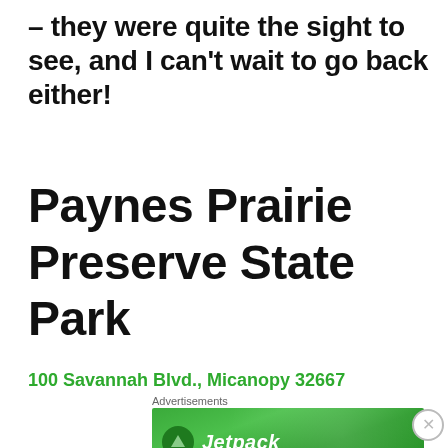– they were quite the sight to see, and I can't wait to go back either!
Paynes Prairie Preserve State Park
100 Savannah Blvd., Micanopy 32667
Advertisements
[Figure (screenshot): Green advertisement banner for Jetpack with logo and text]
Advertisements
[Figure (screenshot): Macy's advertisement banner: KISS BORING LIPS GOODBYE with SHOP NOW button and Macy's logo]